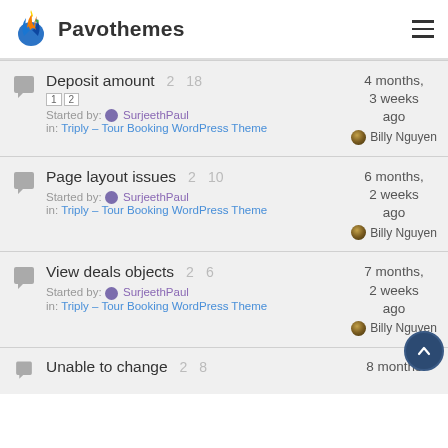Pavothemes
Deposit amount | 2 | 18 | 4 months, 3 weeks ago | Billy Nguyen | Started by: SurjeethPaul | in: Triply – Tour Booking WordPress Theme
Page layout issues | 2 | 10 | 6 months, 2 weeks ago | Billy Nguyen | Started by: SurjeethPaul | in: Triply – Tour Booking WordPress Theme
View deals objects | 2 | 6 | 7 months, 2 weeks ago | Billy Nguyen | Started by: SurjeethPaul | in: Triply – Tour Booking WordPress Theme
Unable to change | 2 | 8 | 8 months